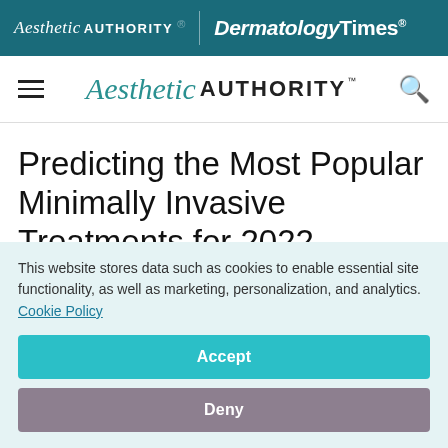Aesthetic Authority | DermatologyTimes®
Aesthetic Authority™
Predicting the Most Popular Minimally Invasive Treatments for 2022
This website stores data such as cookies to enable essential site functionality, as well as marketing, personalization, and analytics. Cookie Policy
Accept
Deny